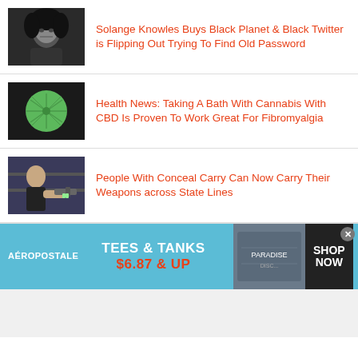[Figure (photo): Black and white portrait photo of a woman with curly hair]
Solange Knowles Buys Black Planet & Black Twitter is Flipping Out Trying To Find Old Password
[Figure (photo): Green cannabis-shaped bath bomb on a dark background]
Health News: Taking A Bath With Cannabis With CBD Is Proven To Work Great For Fibromyalgia
[Figure (photo): Person holding a handgun in a store]
People With Conceal Carry Can Now Carry Their Weapons across State Lines
[Figure (infographic): Aeropostale advertisement banner: TEES & TANKS $6.87 & UP, SHOP NOW]